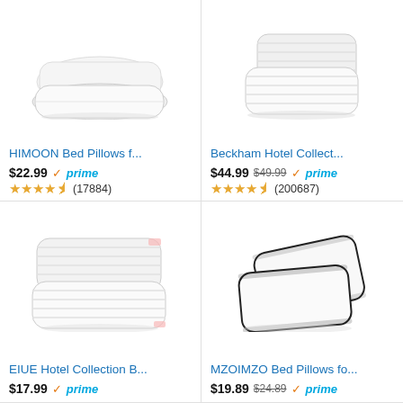[Figure (photo): Two white bed pillows stacked, plain white fabric]
HIMOON Bed Pillows f...
$22.99 ✓prime
★★★★☆ (17884)
[Figure (photo): Two white striped bed pillows, hotel style]
Beckham Hotel Collect...
$44.99 $49.99 ✓prime
★★★★☆ (200687)
[Figure (photo): Two white striped hotel collection bed pillows]
EIUE Hotel Collection B...
$17.99 ✓prime
[Figure (photo): Two white bed pillows with dark piping/trim, leaning]
MZOIMZO Bed Pillows fo...
$19.89 $24.89 ✓prime